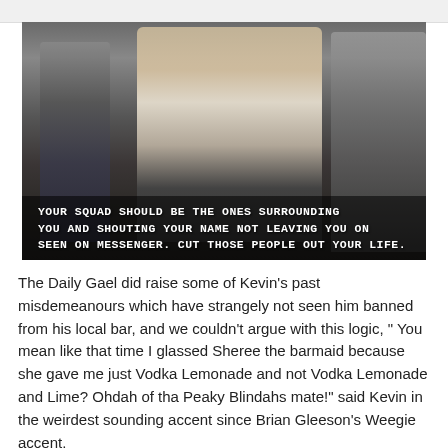[Figure (photo): A scene from Peaky Blinders showing a man in a waistcoat and white shirt pointing his finger, with other men in suits in the background. Text overlay reads: YOUR SQUAD SHOULD BE THE ONES SURROUNDING YOU AND SHOUTING YOUR NAME NOT LEAVING YOU ON SEEN ON MESSENGER. CUT THOSE PEOPLE OUT YOUR LIFE.]
YOUR SQUAD SHOULD BE THE ONES SURROUNDING YOU AND SHOUTING YOUR NAME NOT LEAVING YOU ON SEEN ON MESSENGER. CUT THOSE PEOPLE OUT YOUR LIFE.
The Daily Gael did raise some of Kevin's past misdemeanours which have strangely not seen him banned from his local bar, and we couldn't argue with this logic, " You mean like that time I glassed Sheree the barmaid because she gave me just Vodka Lemonade and not Vodka Lemonade and Lime? Ohdah of tha Peaky Blindahs mate!" said Kevin in the weirdest sounding accent since Brian Gleeson's Weegie accent.